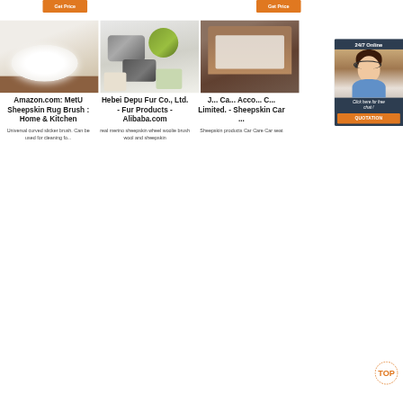[Figure (screenshot): Web page screenshot showing e-commerce product listings for sheepskin products. Top section has orange 'Get Price' buttons. Middle section shows three product images: fluffy white sheepskin rug, colorful fur pillows, and leather chair with sheepskin. A customer service chat widget is on the right with '24/7 Online' header and 'QUOTATION' button. Bottom shows product titles and descriptions.]
Get Price
Get Price
Amazon.com: MetU Sheepskin Rug Brush : Home & Kitchen
Hebei Depu Fur Co., Ltd. - Fur Products - Alibaba.com
J... Ca... Acco... C... Limited. - Sheepskin Car ...
Universal curved slicker brush. Can be used for cleaning fo...
real merino sheepskin wheel woolie brush wool and sheepskin
Sheepskin products Car Care Car seat
24/7 Online
Click here for free chat !
QUOTATION